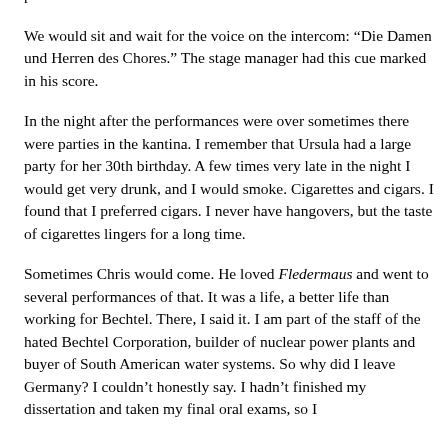weight. You could also have dinner while waiting--hot dogs and potato salad.
We would sit and wait for the voice on the intercom: “Die Damen und Herren des Chores.” The stage manager had this cue marked in his score.
In the night after the performances were over sometimes there were parties in the kantina. I remember that Ursula had a large party for her 30th birthday. A few times very late in the night I would get very drunk, and I would smoke. Cigarettes and cigars. I found that I preferred cigars. I never have hangovers, but the taste of cigarettes lingers for a long time.
Sometimes Chris would come. He loved Fledermaus and went to several performances of that. It was a life, a better life than working for Bechtel. There, I said it. I am part of the staff of the hated Bechtel Corporation, builder of nuclear power plants and buyer of South American water systems. So why did I leave Germany? I couldn’t honestly say. I hadn’t finished my dissertation and taken my final oral exams, so I